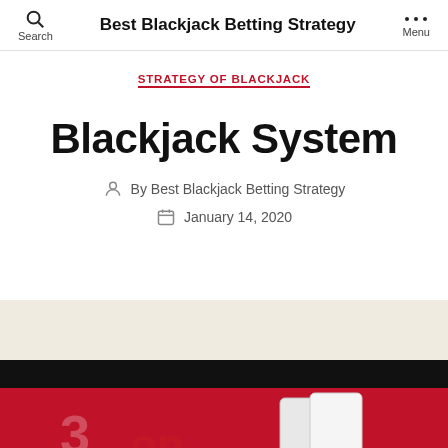Best Blackjack Betting Strategy
STRATEGY OF BLACKJACK
Blackjack System
By Best Blackjack Betting Strategy
January 14, 2020
[Figure (photo): Photo of red casino table with playing cards, partly obscured]